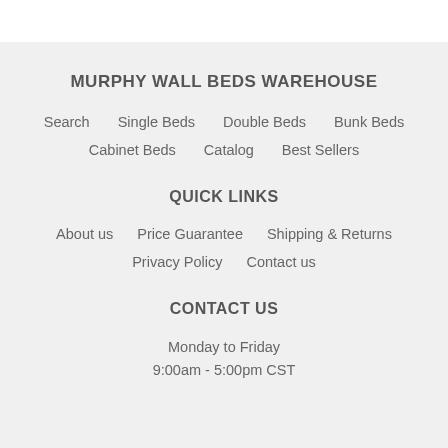MURPHY WALL BEDS WAREHOUSE
Search
Single Beds
Double Beds
Bunk Beds
Cabinet Beds
Catalog
Best Sellers
QUICK LINKS
About us
Price Guarantee
Shipping & Returns
Privacy Policy
Contact us
CONTACT US
Monday to Friday
9:00am - 5:00pm CST